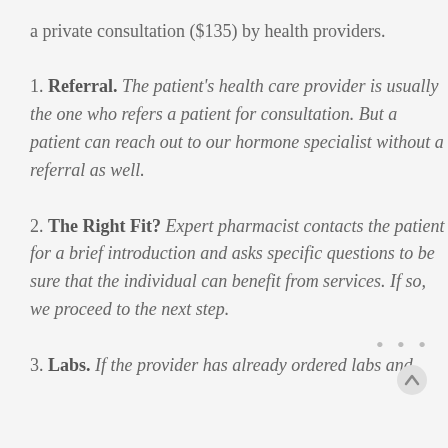a private consultation ($135) by health providers.
1. Referral. The patient's health care provider is usually the one who refers a patient for consultation. But a patient can reach out to our hormone specialist without a referral as well.
2. The Right Fit? Expert pharmacist contacts the patient for a brief introduction and asks specific questions to be sure that the individual can benefit from services. If so, we proceed to the next step.
3. Labs. If the provider has already ordered labs and